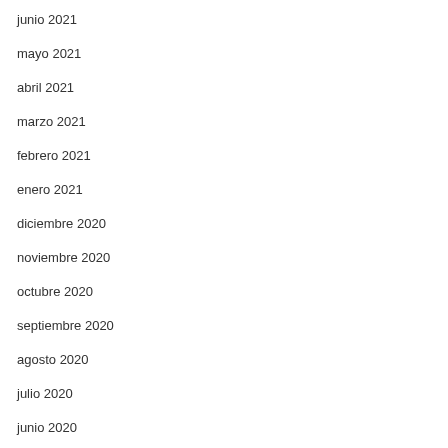junio 2021
mayo 2021
abril 2021
marzo 2021
febrero 2021
enero 2021
diciembre 2020
noviembre 2020
octubre 2020
septiembre 2020
agosto 2020
julio 2020
junio 2020